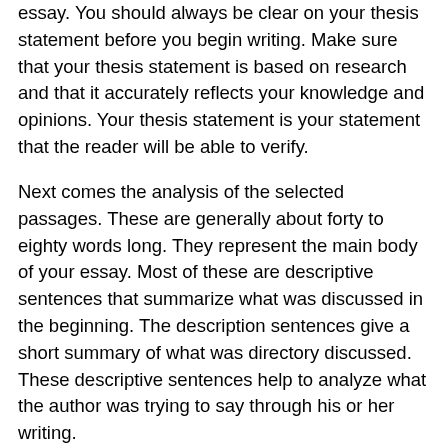essay. You should always be clear on your thesis statement before you begin writing. Make sure that your thesis statement is based on research and that it accurately reflects your knowledge and opinions. Your thesis statement is your statement that the reader will be able to verify.
Next comes the analysis of the selected passages. These are generally about forty to eighty words long. They represent the main body of your essay. Most of these are descriptive sentences that summarize what was discussed in the beginning. The description sentences give a short summary of what was directory discussed. These descriptive sentences help to analyze what the author was trying to say through his or her writing.